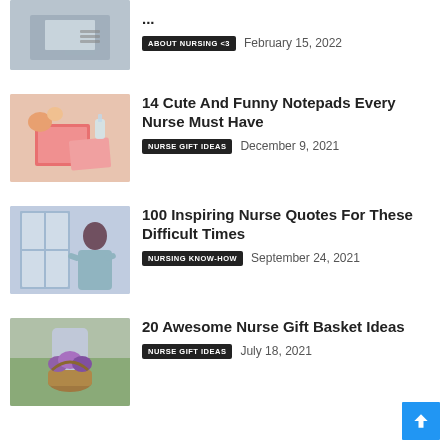[Figure (photo): Person typing on laptop at desk]
NURS...
ABOUT NURSING <3   February 15, 2022
[Figure (photo): Pink notebooks with flowers on white background]
14 Cute And Funny Notepads Every Nurse Must Have
NURSE GIFT IDEAS   December 9, 2021
[Figure (photo): Woman looking out window holding a cup]
100 Inspiring Nurse Quotes For These Difficult Times
NURSING KNOW-HOW   September 24, 2021
[Figure (photo): Woman in grey dress holding basket of purple flowers]
20 Awesome Nurse Gift Basket Ideas
NURSE GIFT IDEAS   July 18, 2021